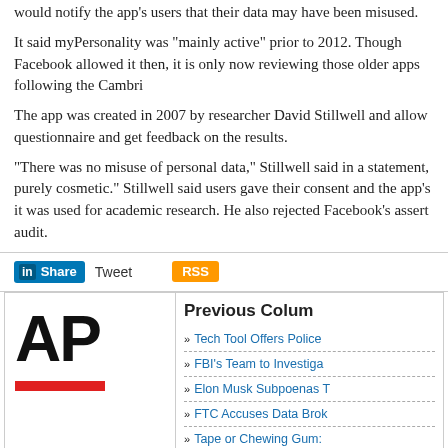would notify the app's users that their data may have been misused.
It said myPersonality was "mainly active" prior to 2012. Though Facebook allowed it then, it is only now reviewing those older apps following the Cambridge Analytica...
The app was created in 2007 by researcher David Stillwell and allowed users to take a questionnaire and get feedback on the results.
"There was no misuse of personal data," Stillwell said in a statement, "...purely cosmetic." Stillwell said users gave their consent and the app's data was used for academic research. He also rejected Facebook's assertion that he failed an audit.
[Figure (infographic): Social sharing bar with LinkedIn Share button, Tweet link, and RSS button]
[Figure (logo): AP (Associated Press) logo in large bold black text with red underbar]
Previous Columns
Tech Tool Offers Police...
FBI's Team to Investiga...
Elon Musk Subpoenas T...
FTC Accuses Data Brok...
Tape or Chewing Gum:...
» 2022 CISO Forum: September 13-14 - A Virtual Event